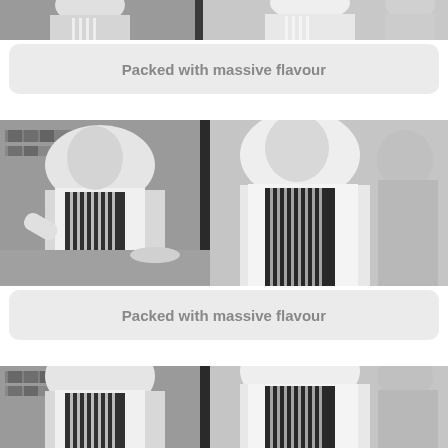[Figure (photo): Black and white photo of chefs in striped aprons working in a kitchen, cropped at top]
Packed with massive flavour
[Figure (photo): Black and white photo of chefs in striped aprons working in a kitchen, full view]
Packed with massive flavour
[Figure (photo): Black and white photo of chefs in striped aprons working in a kitchen, bottom cropped]